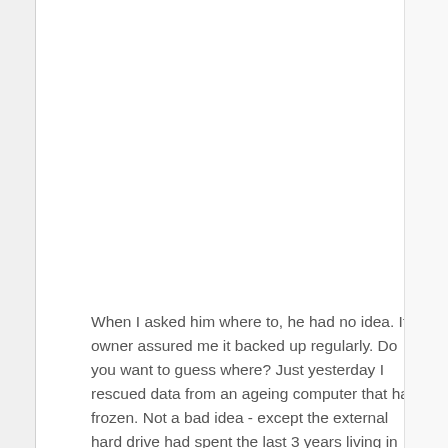When I asked him where to, he had no idea. Its owner assured me it backed up regularly. Do you want to guess where? Just yesterday I rescued data from an ageing computer that had frozen. Not a bad idea - except the external hard drive had spent the last 3 years living in the roof of his garage. It was set to back-up to an external hard-drive. The last backup was 3 years old. I meet many